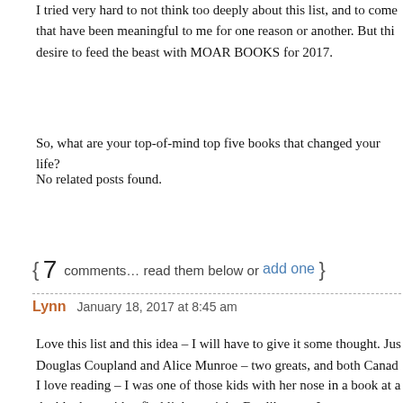I tried very hard to not think too deeply about this list, and to come up with books that have been meaningful to me for one reason or another. But this fueled my desire to feed the beast with MOAR BOOKS for 2017.
So, what are your top-of-mind top five books that changed your life?
No related posts found.
{ 7 comments… read them below or add one }
Lynn  January 18, 2017 at 8:45 am
Love this list and this idea – I will have to give it some thought. Just seeing Douglas Coupland and Alice Munroe – two greats, and both Canad
I love reading – I was one of those kids with her nose in a book at a the blankets with a flashlight at night. But like you, I can count on m